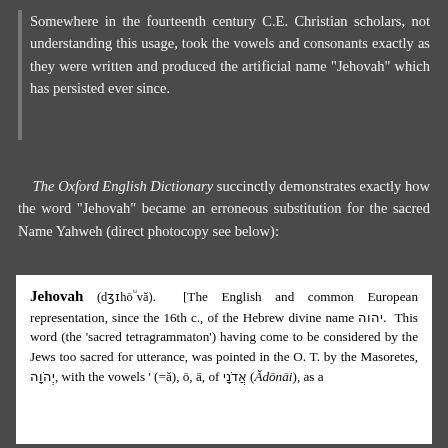Somewhere in the fourteenth century C.E. Christian scholars, not understanding this usage, took the vowels and consonants exactly as they were written and produced the artificial name "Jehovah" which has persisted ever since.
The Oxford English Dictionary succinctly demonstrates exactly how the word "Jehovah" became an erroneous substitution for the sacred Name Yahweh (direct photocopy see below):
[Figure (photo): Photocopy of Oxford English Dictionary entry for 'Jehovah', showing the word's etymology, phonetic transcription (dʒɪhōᵘvă), and explanation that it is the English and common European representation, since the 16th c., of the Hebrew divine name יהוה. The entry explains the 'sacred tetragrammaton' having come to be considered by the Jews too sacred for utterance, was pointed in the O.T. by the Masoretes, יְהֹוָה, with the vowels ' (=ă), ō, ā, of אֲדֹנָי (Ădōnāi), as a...]